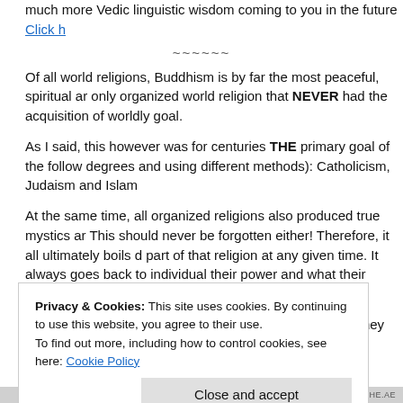much more Vedic linguistic wisdom coming to you in the future [link]
~~~~~~
Of all world religions, Buddhism is by far the most peaceful, spiritual and only organized world religion that NEVER had the acquisition of worldly goal.
As I said, this however was for centuries THE primary goal of the following (to different degrees and using different methods): Catholicism, Judaism and Islam
At the same time, all organized religions also produced true mystics and This should never be forgotten either! Therefore, it all ultimately boils down to part of that religion at any given time. It always goes back to individual their power and what their life's mission is.
Today, religious leaders can often play a positive role, if they choose to
Privacy & Cookies: This site uses cookies. By continuing to use this website, you agree to their use.
To find out more, including how to control cookies, see here: Cookie Policy
Close and accept